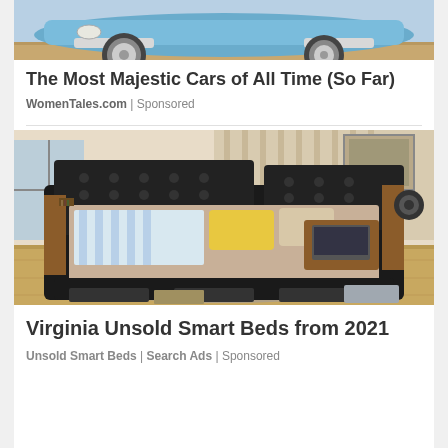[Figure (photo): Partial view of a classic blue car with chrome wheel and wooden floor background]
The Most Majestic Cars of All Time (So Far)
WomenTales.com | Sponsored
[Figure (photo): A luxurious smart bed with black leather tufted headboard and sides, built-in storage, speakers, wooden accents, beige mattress with yellow pillow and striped blanket, in a bedroom setting]
Virginia Unsold Smart Beds from 2021
Unsold Smart Beds | Search Ads | Sponsored